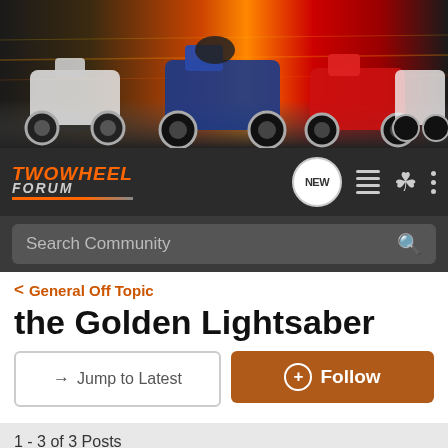[Figure (photo): Motorcycle forum banner with multiple sport motorcycles on colorful motion-blurred background]
TWOWHEEL FORUM — navigation bar with NEW, list, profile, and menu icons, and Search Community search bar
General Off Topic
the Golden Lightsaber
→ Jump to Latest   + Follow
1 - 3 of 3 Posts
Pigface1 · Registered
Joined Jul 7, 2004 · 2,544 Posts